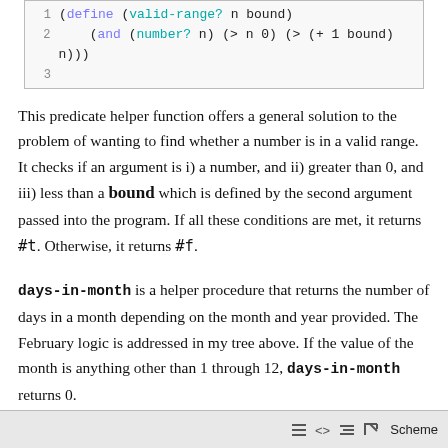[Figure (screenshot): Code snippet showing lines 1-3 of Scheme code: line 1 has 'define (valid-range? n bound)', line 2 has '(and (number? n) (> n 0) (> (+ 1 bound) n)))', line 3 is empty.]
This predicate helper function offers a general solution to the problem of wanting to find whether a number is in a valid range. It checks if an argument is i) a number, and ii) greater than 0, and iii) less than a bound which is defined by the second argument passed into the program. If all these conditions are met, it returns #t. Otherwise, it returns #f.
days-in-month is a helper procedure that returns the number of days in a month depending on the month and year provided. The February logic is addressed in my tree above. If the value of the month is anything other than 1 through 12, days-in-month returns 0.
Finally, the main program:
[Figure (screenshot): Bottom toolbar bar with Scheme editor icons (hamburger menu, code brackets, indent, expand, and Scheme label).]